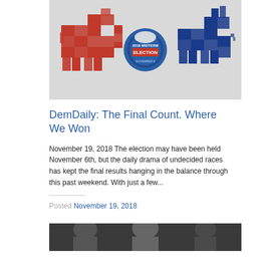[Figure (illustration): Republican elephant (red, made of US state shapes) on the left, a circular blue election badge in the center with text '2018 MIDTERM ELECTION', and Democratic donkey (blue, made of US state shapes) on the right, all on a light gray background.]
DemDaily: The Final Count. Where We Won
November 19, 2018 The election may have been held November 6th, but the daily drama of undecided races has kept the final results hanging in the balance through this past weekend. With just a few...
Posted November 19, 2018
[Figure (photo): Partial photo showing people, cropped at bottom of page.]